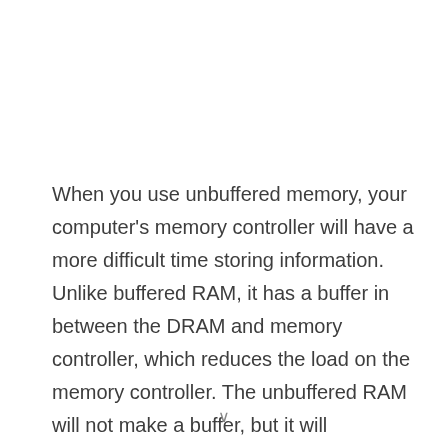When you use unbuffered memory, your computer's memory controller will have a more difficult time storing information. Unlike buffered RAM, it has a buffer in between the DRAM and memory controller, which reduces the load on the memory controller. The unbuffered RAM will not make a buffer, but it will